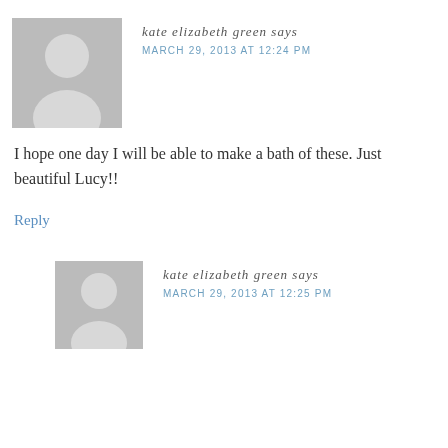[Figure (illustration): Generic grey avatar placeholder image for user kate elizabeth green, first comment]
kate elizabeth green says
MARCH 29, 2013 AT 12:24 PM
I hope one day I will be able to make a bath of these. Just beautiful Lucy!!
Reply
[Figure (illustration): Generic grey avatar placeholder image for user kate elizabeth green, second comment]
kate elizabeth green says
MARCH 29, 2013 AT 12:25 PM